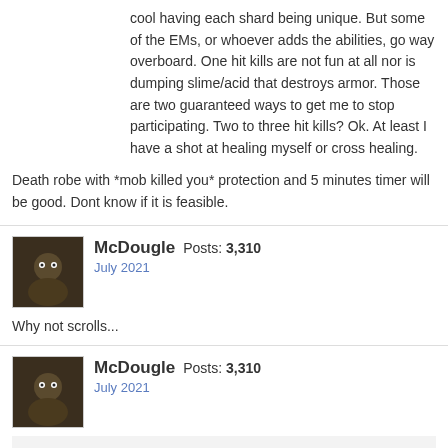cool having each shard being unique. But some of the EMs, or whoever adds the abilities, go way overboard. One hit kills are not fun at all nor is dumping slime/acid that destroys armor. Those are two guaranteed ways to get me to stop participating. Two to three hit kills? Ok. At least I have a shot at healing myself or cross healing.
Death robe with *mob killed you* protection and 5 minutes timer will be good. Dont know if it is feasible.
McDougle  Posts: 3,310  July 2021
Why not scrolls...
McDougle  Posts: 3,310  July 2021
McDougle said:
Why not scrolls...